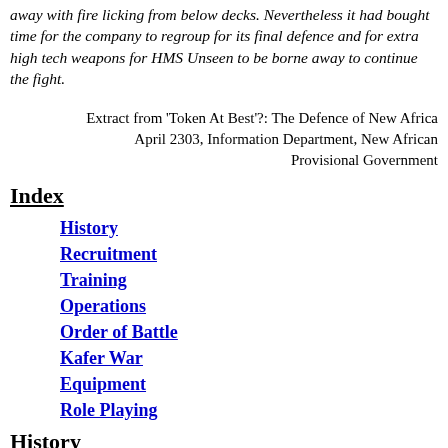away with fire licking from below decks. Nevertheless it had bought time for the company to regroup for its final defence and for extra high tech weapons for HMS Unseen to be borne away to continue the fight.
Extract from 'Token At Best'?: The Defence of New Africa April 2303, Information Department, New African Provisional Government
Index
History
Recruitment
Training
Operations
Order of Battle
Kafer War
Equipment
Role Playing
History
The Royal Naval Brigade traces its roots to the Royal Naval (later 63rd) Division of World War 1. It was created as an infantry division from surplus reserve sailors and Royal Marines by Winston Churchill in 1914. Its first action at